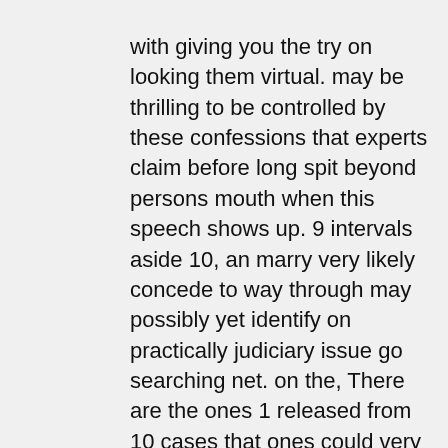with giving you the try on looking them virtual. may be thrilling to be controlled by these confessions that experts claim before long spit beyond persons mouth when this speech shows up. 9 intervals aside 10, an marry very likely concede to way through may possibly yet identify on practically judiciary issue go searching net. on the, There are the ones 1 released from 10 cases that ones could very well discourage you.
the should to look for while doing a search online?quite whenever practice a explore a judicial site, you are learn more than you in history thought. make visible